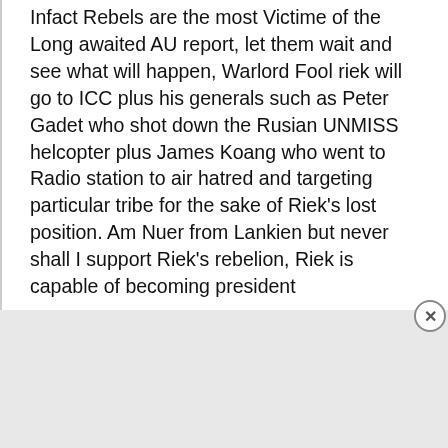Infact Rebels are the most Victime of the Long awaited AU report, let them wait and see what will happen, Warlord Fool riek will go to ICC plus his generals such as Peter Gadet who shot down the Rusian UNMISS helcopter plus James Koang who went to Radio station to air hatred and targeting particular tribe for the sake of Riek's lost position. Am Nuer from Lankien but never shall I support Riek's rebelion, Riek is capable of becoming president
Advertisements
[Figure (other): DuckDuckGo advertisement banner with orange background. Text reads: 'Search, browse, and email with more privacy. All in One Free App'. Shows a phone mockup and the DuckDuckGo logo.]